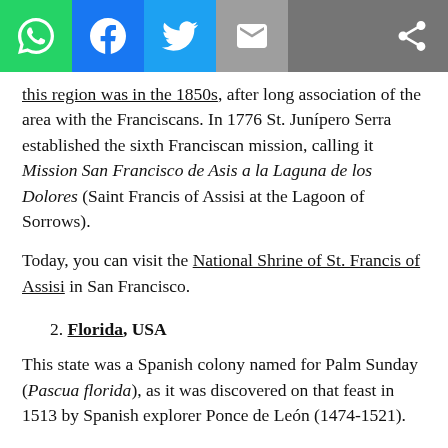[Figure (screenshot): Social media share toolbar with WhatsApp, Facebook, Twitter, email, and generic share icons]
this region was in the 1850s, after long association of the area with the Franciscans. In 1776 St. Junípero Serra established the sixth Franciscan mission, calling it Mission San Francisco de Asis a la Laguna de los Dolores (Saint Francis of Assisi at the Lagoon of Sorrows).
Today, you can visit the National Shrine of St. Francis of Assisi in San Francisco.
2. Florida, USA
This state was a Spanish colony named for Palm Sunday (Pascua florida), as it was discovered on that feast in 1513 by Spanish explorer Ponce de León (1474-1521).
Spaniards celebrated the first Thanksgiving in the USA in